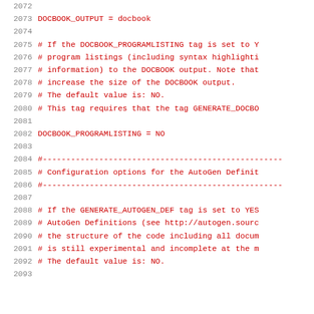2072 (empty line)
2073   DOCBOOK_OUTPUT              = docbook
2074 (empty line)
2075   # If the DOCBOOK_PROGRAMLISTING tag is set to Y
2076   # program listings (including syntax highlighti
2077   # information) to the DOCBOOK output. Note that
2078   # increase the size of the DOCBOOK output.
2079   # The default value is: NO.
2080   # This tag requires that the tag GENERATE_DOCBO
2081 (empty line)
2082   DOCBOOK_PROGRAMLISTING = NO
2083 (empty line)
2084   #---------------------------------------------------
2085   # Configuration options for the AutoGen Definit
2086   #---------------------------------------------------
2087 (empty line)
2088   # If the GENERATE_AUTOGEN_DEF tag is set to YES
2089   # AutoGen Definitions (see http://autogen.sourc
2090   # the structure of the code including all docum
2091   # is still experimental and incomplete at the m
2092   # The default value is: NO.
2093 (empty line)